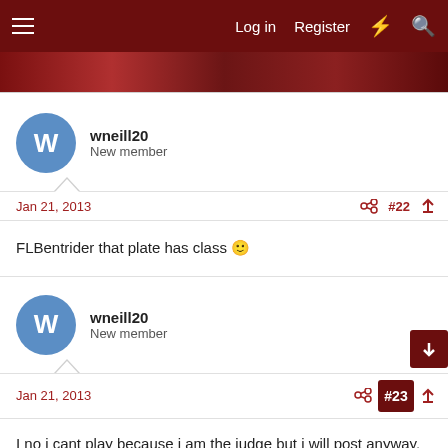Log in   Register
wneill20
New member
Jan 21, 2013   #22
FLBentrider that plate has class 🙂
wneill20
New member
Jan 21, 2013   #23
I no i cant play because i am the judge but i will post anyway. Cook this on the BP drum if you don't have one you better be